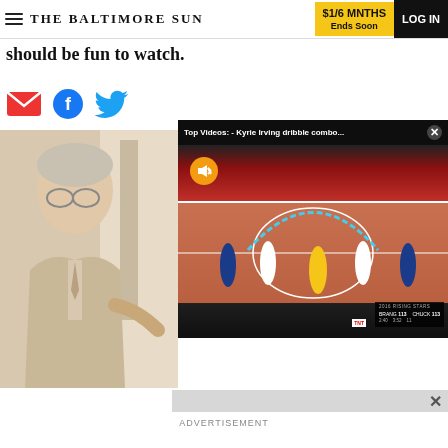THE BALTIMORE SUN | $1/6 MNTHS Ends Soon | LOG IN
should be fun to watch.
[Figure (screenshot): Social sharing icons row: email (red envelope), Facebook (blue), Twitter (blue bird)]
[Figure (screenshot): Video overlay titled 'Top Videos: - Kyrie Irving dribble combo...' showing an NBA basketball game on a court with a mute button, and a left-side advertisement showing a man in a suit.]
ADVERTISEMENT